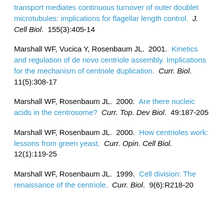transport mediates continuous turnover of outer doublet microtubules: implications for flagellar length control.  J. Cell Biol.  155(3):405-14
Marshall WF, Vucica Y, Rosenbaum JL.  2001.  Kinetics and regulation of de novo centriole assembly. Implications for the mechanism of centriole duplication.  Curr. Biol.  11(5):308-17
Marshall WF, Rosenbaum JL.  2000.  Are there nucleic acids in the centrosome?  Curr. Top. Dev Biol.  49:187-205
Marshall WF, Rosenbaum JL.  2000.  How centrioles work: lessons from green yeast.  Curr. Opin. Cell Biol.  12(1):119-25
Marshall WF, Rosenbaum JL.  1999.  Cell division: The renaissance of the centriole.  Curr. Biol.  9(6):R218-20